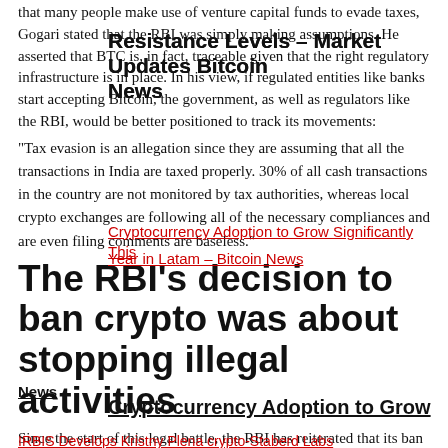that many people make use of venture capital funds to evade taxes, Gogari stated that the RBI was simply making assumptions. He asserted that BTC is, in fact, traceable given that the right regulatory infrastructure is in place. In his view, if regulated entities like banks start accepting Bitcoin, the government, as well as regulators like the RBI, would be better positioned to track its movements:
Resistance Levels – Market Updates Bitcoin News
"Tax evasion is an allegation since they are assuming that all the transactions in India are taxed properly. 30% of all cash transactions in the country are not monitored by tax authorities, whereas local crypto exchanges are following all of the necessary compliances and are even filing comments are baseless."
Cryptocurrency Adoption to Grow Significantly This Year in Latam – Bitcoin News
Cryptocurrency Adoption to Grow
The RBI's decision to ban crypto was about stopping illegal activities
Significantly This Year in Latam – Bitcoin News
Since the start of this legal battle, the RBI has reiterated that its ban was about protecting India's investor community, as well as curbing illegal activity. But per the legal rights afforded by the constitution
IRBIS Develops Kristny Plena crypto-Staberd Labs